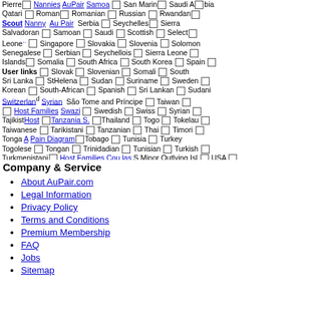Dense nationality/country list with checkboxes and overlapping navigation links (Nanny, AuPair, Scout, etc.) covering the top portion of the page. Includes entries: Qatari, Romanian, Russian, Rwandan, Saudi Arabian, Salvadoran, Samoan, Saudi, Scottish, Select, Senegalese, Serbian, Seychellois, Sierra Leone, Singapore, Slovakia, Slovenia, Solomon Islands, Somalia, South Africa, South Korea, Spain, Slovak, Slovenian, Somali, South Korean, South-African, Spanish, Sri Lankan, Sudani, Sri Lanka, StHelena, Sudan, Suriname, Sweden, Swiss, Syrian, Swiss, Taiwanese, Tarikistani, Tanzanian, Thai, Timori, Togolese, Tongan, Trinidadian, Tunisian, Turkish, Turkmenistani, Tuvaluan, Ugandan, Ukrainian, Ugandan, United Arab Emirates, United Kingdom, Uruguayan, Uzbekistan, Vanuatu, Vatican City, Venezuelan, Vietnamese, West Indian, Yemeni, Tanzanian, Zimbabwean, Venezuela, Vietnam, Virgin Islands, Wallis futuna islands, Western Sahara, Yemen, Zambia, Zimbabwe. Navigation links: Nanny, AuPair, Scout, Host, Nannies, Au Pairs, Host Families, AuPair Program Quiz, Find Yoment, Tanzanian, Zimbabwean.
Company & Service
About AuPair.com
Legal Information
Privacy Policy
Terms and Conditions
Premium Membership
FAQ
Jobs
Sitemap